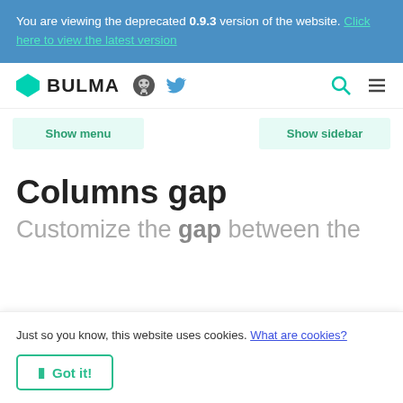You are viewing the deprecated 0.9.3 version of the website. Click here to view the latest version
[Figure (logo): Bulma CSS framework logo with diamond shape and BULMA text, plus GitHub and Twitter icons, search icon, and hamburger menu]
Show menu
Show sidebar
Columns gap
Customize the gap between the
Just so you know, this website uses cookies. What are cookies?
Got it!